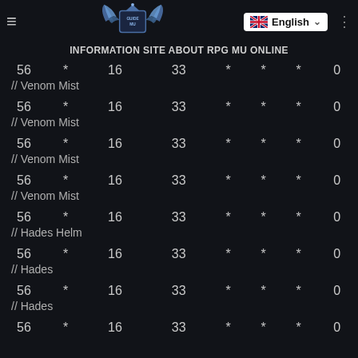INFORMATION SITE ABOUT RPG MU ONLINE
INFORMATION SITE ABOUT RPG MU ONLINE
| Lvl | * | 16 | 33 | * | * | * | 0 |
| --- | --- | --- | --- | --- | --- | --- | --- |
| 56 | * | 16 | 33 | * | * | * | 0 |
| // Venom Mist |  |  |  |  |  |  |  |
| 56 | * | 16 | 33 | * | * | * | 0 |
| // Venom Mist |  |  |  |  |  |  |  |
| 56 | * | 16 | 33 | * | * | * | 0 |
| // Venom Mist |  |  |  |  |  |  |  |
| 56 | * | 16 | 33 | * | * | * | 0 |
| // Venom Mist |  |  |  |  |  |  |  |
| 56 | * | 16 | 33 | * | * | * | 0 |
| // Hades Helm |  |  |  |  |  |  |  |
| 56 | * | 16 | 33 | * | * | * | 0 |
| // Hades |  |  |  |  |  |  |  |
| 56 | * | 16 | 33 | * | * | * | 0 |
| // Hades |  |  |  |  |  |  |  |
| 56 | * | 16 | 33 | * | * | * | 0 |